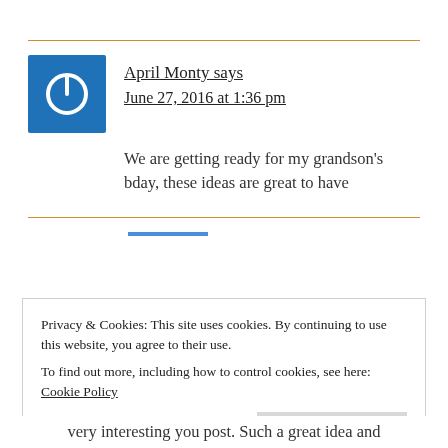April Monty says
June 27, 2016 at 1:36 pm
We are getting ready for my grandson's bday, these ideas are great to have
Privacy & Cookies: This site uses cookies. By continuing to use this website, you agree to their use.
To find out more, including how to control cookies, see here: Cookie Policy
Close and accept
very interesting you post. Such a great idea and